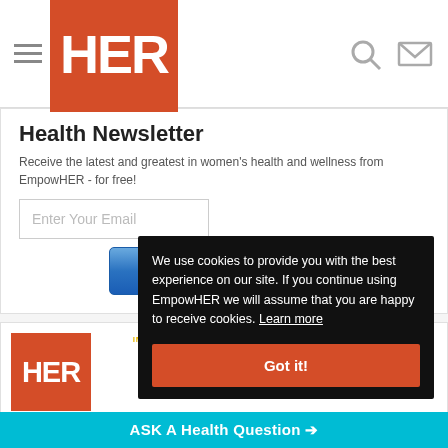HER — Health Newsletter page header with navigation
Health Newsletter
Receive the latest and greatest in women's health and wellness from EmpowHER - for free!
Enter Your Email
Sign Up
[Figure (logo): HER Health Meter logo with IMPROVED, CHANGED, SAVED stats and 0 lives counter]
We use cookies to provide you with the best experience on our site. If you continue using EmpowHER we will assume that you are happy to receive cookies. Learn more
Got it!
ASK A Health Question →